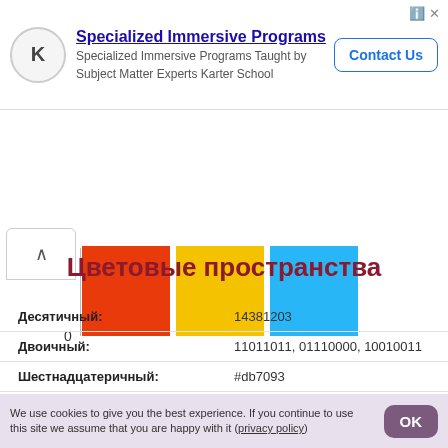[Figure (infographic): Advertisement banner for Specialized Immersive Programs by Karter School with logo, text, and Contact Us button]
[Figure (bar-chart): Partial bar chart showing three colored bars (red, yellow, blue) with y-axis showing 0]
Цветовые пространства
| Label | Value |
| --- | --- |
| Десятичный: | 14381203 |
| Двоичный: | 11011011, 01110000, 10010011 |
| Шестнадцатеричный: | #db7093 |
We use cookies to give you the best experience. If you continue to use this site we assume that you are happy with it (privacy policy)